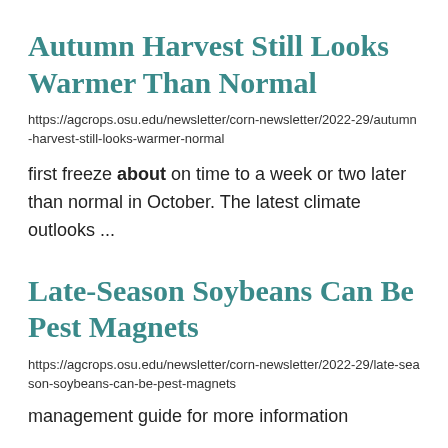Autumn Harvest Still Looks Warmer Than Normal
https://agcrops.osu.edu/newsletter/corn-newsletter/2022-29/autumn-harvest-still-looks-warmer-normal
first freeze about on time to a week or two later than normal in October. The latest climate outlooks ...
Late-Season Soybeans Can Be Pest Magnets
https://agcrops.osu.edu/newsletter/corn-newsletter/2022-29/late-season-soybeans-can-be-pest-magnets
management guide for more information